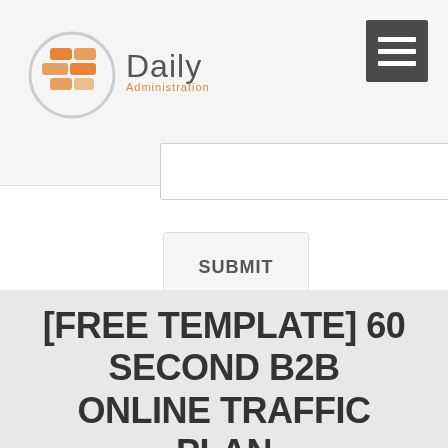Daily Administration
[Figure (logo): Daily Administration logo with orange brick/block graphic and text 'Daily Administration']
[Figure (other): Hamburger menu icon (three horizontal white lines on dark gray background)]
[Figure (other): Text area input box with resize handle]
[Figure (other): SUBMIT button]
[FREE TEMPLATE] 60 SECOND B2B ONLINE TRAFFIC PLAN